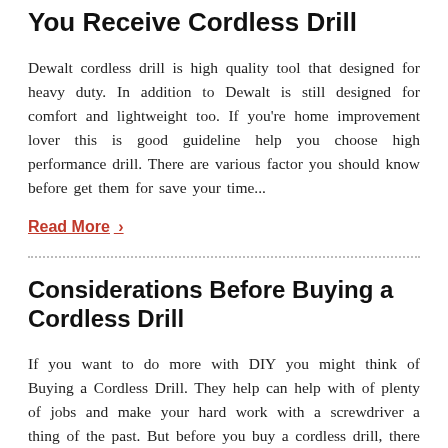You Receive Cordless Drill
Dewalt cordless drill is high quality tool that designed for heavy duty. In addition to Dewalt is still designed for comfort and lightweight too. If you're home improvement lover this is good guideline help you choose high performance drill. There are various factor you should know before get them for save your time...
Read More ›
Considerations Before Buying a Cordless Drill
If you want to do more with DIY you might think of Buying a Cordless Drill. They help can help with of plenty of jobs and make your hard work with a screwdriver a thing of the past. But before you buy a cordless drill, there are certain things that you need to check for to make certain that you are getting the best cordless drill for the job and the best value for your cash. Here are the top five things that you need to